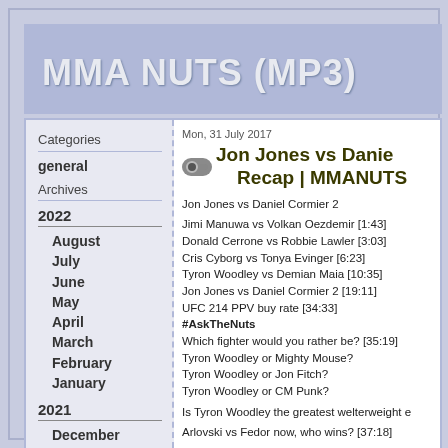MMA NUTS (MP3)
Categories
general
Archives
2022
August
July
June
May
April
March
February
January
2021
December
November
October
September
August
Mon, 31 July 2017
Jon Jones vs Danie... Recap | MMANUTS
Jon Jones vs Daniel Cormier 2

Jimi Manuwa vs Volkan Oezdemir [1:43]
Donald Cerrone vs Robbie Lawler [3:03]
Cris Cyborg vs Tonya Evinger [6:23]
Tyron Woodley vs Demian Maia [10:35]
Jon Jones vs Daniel Cormier 2 [19:11]
UFC 214 PPV buy rate [34:33]
#AskTheNuts
Which fighter would you rather be? [35:19]
Tyron Woodley or Mighty Mouse?
Tyron Woodley or Jon Fitch?
Tyron Woodley or CM Punk?

Is Tyron Woodley the greatest welterweight e...

Arlovski vs Fedor now, who wins? [37:18]

Would you rather see Jones fight Gustafss... up to HW? [37:39]

As much as I don't like Jon Jones im glad he...